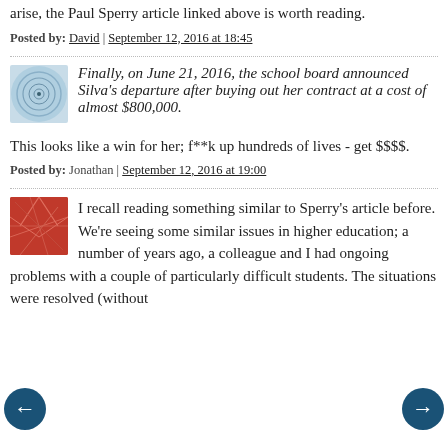arise, the Paul Sperry article linked above is worth reading.
Posted by: David | September 12, 2016 at 18:45
Finally, on June 21, 2016, the school board announced Silva's departure after buying out her contract at a cost of almost $800,000.
This looks like a win for her; f**k up hundreds of lives - get $$$$.
Posted by: Jonathan | September 12, 2016 at 19:00
I recall reading something similar to Sperry's article before. We're seeing some similar issues in higher education; a number of years ago, a colleague and I had ongoing problems with a couple of particularly difficult students. The situations were resolved (without